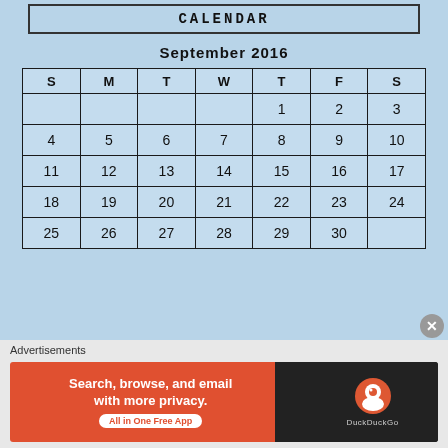CALENDAR
September 2016
| S | M | T | W | T | F | S |
| --- | --- | --- | --- | --- | --- | --- |
|  |  |  |  | 1 | 2 | 3 |
| 4 | 5 | 6 | 7 | 8 | 9 | 10 |
| 11 | 12 | 13 | 14 | 15 | 16 | 17 |
| 18 | 19 | 20 | 21 | 22 | 23 | 24 |
| 25 | 26 | 27 | 28 | 29 | 30 |  |
« Aug   Dec »
Advertisements
[Figure (infographic): DuckDuckGo advertisement banner: Search, browse, and email with more privacy. All in One Free App. DuckDuckGo logo on right side.]